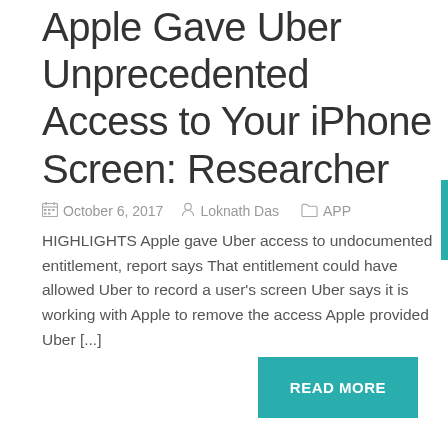Apple Gave Uber Unprecedented Access to Your iPhone Screen: Researcher
October 6, 2017   Loknath Das   APP
HIGHLIGHTS Apple gave Uber access to undocumented entitlement, report says That entitlement could have allowed Uber to record a user's screen Uber says it is working with Apple to remove the access Apple provided Uber [...]